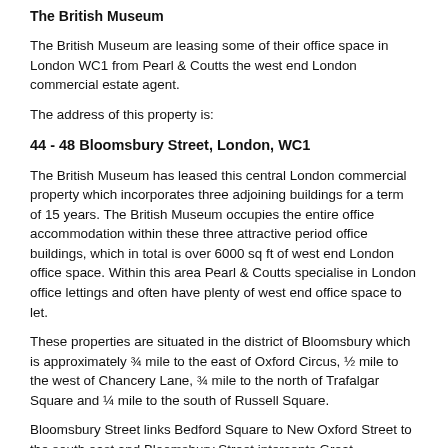The British Museum
The British Museum are leasing some of their office space in London WC1 from Pearl & Coutts the west end London commercial estate agent.
The address of this property is:
44 - 48 Bloomsbury Street, London, WC1
The British Museum has leased this central London commercial property which incorporates three adjoining buildings for a term of 15 years. The British Museum occupies the entire office accommodation within these three attractive period office buildings, which in total is over 6000 sq ft of west end London office space. Within this area Pearl & Coutts specialise in London office lettings and often have plenty of west end office space to let.
These properties are situated in the district of Bloomsbury which is approximately ¾ mile to the east of Oxford Circus, ½ mile to the west of Chancery Lane, ¾ mile to the north of Trafalgar Square and ¼ mile to the south of Russell Square.
Bloomsbury Street links Bedford Square to New Oxford Street to the south east and Bloomsbury Street intercepts Great